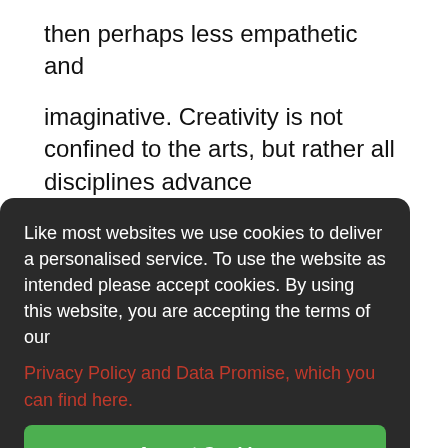then perhaps less empathetic and
imaginative. Creativity is not confined to the arts, but rather all disciplines advance
with creative thinking. Where are we going, then, with this education policy? Time will
tell.
I am curious as to why the session was not better attended. I wonder if, as theatre makers, whose contact with projects does tend to be short rather than long, we are not good at thinking of the bigger picture. Or perhaps there just isn't wide spread
Like most websites we use cookies to deliver a personalised service. To use the website as intended please accept cookies. By using this website, you are accepting the terms of our Privacy Policy and Data Promise, which you can find here.
Accept Cookies